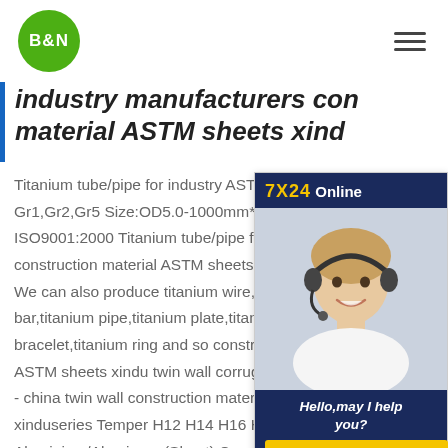[Figure (logo): B&N logo — green circle with white bold text B&N]
industry manufacturers construction material ASTM sheets xindu
[Figure (infographic): 7X24 Online chat widget with photo of customer service agent wearing headset, 'Hello, may I help you?' text and 'Get Latest Price' yellow button]
Titanium tube/pipe for industry ASTM A Gr1,Gr2,Gr5 Size:OD5.0-1000mm*WT ISO9001:2000 Titanium tube/pipe for industry construction material ASTM sheets xindu. We can also produce titanium wire,titanium bar,titanium pipe,titanium plate,titanium ball,titanium bracelet,titanium ring and so construction material ASTM sheets xindu twin wall corrugated plastic sheet - china twin wall construction material ASTM sheets xinduseries Temper H12 H14 H16 H18 H22 Aluminium/Aluminum (Sheet) Corrugated Roofing